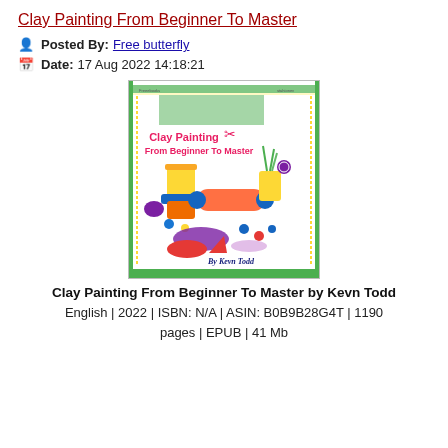Clay Painting From Beginner To Master
Posted By: Free butterfly
Date: 17 Aug 2022 14:18:21
[Figure (photo): Book cover of 'Clay Painting From Beginner To Master' by Kevn Todd showing colorful clay tools and shapes on a white background with green header and border]
Clay Painting From Beginner To Master by Kevn Todd
English | 2022 | ISBN: N/A | ASIN: B0B9B28G4T | 1190 pages | EPUB | 41 Mb